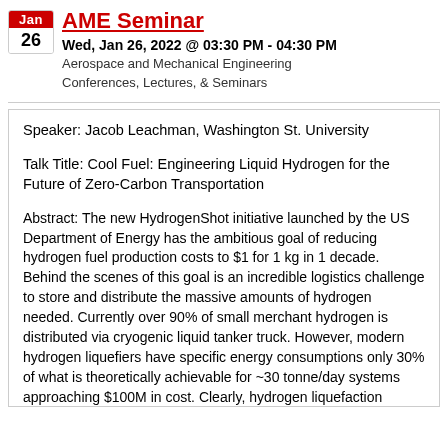Jan 26 | AME Seminar
Wed, Jan 26, 2022 @ 03:30 PM - 04:30 PM
Aerospace and Mechanical Engineering Conferences, Lectures, & Seminars
Speaker: Jacob Leachman, Washington St. University
Talk Title: Cool Fuel: Engineering Liquid Hydrogen for the Future of Zero-Carbon Transportation
Abstract: The new HydrogenShot initiative launched by the US Department of Energy has the ambitious goal of reducing hydrogen fuel production costs to $1 for 1 kg in 1 decade. Behind the scenes of this goal is an incredible logistics challenge to store and distribute the massive amounts of hydrogen needed. Currently over 90% of small merchant hydrogen is distributed via cryogenic liquid tanker truck. However, modern hydrogen liquefiers have specific energy consumptions only 30% of what is theoretically achievable for ~30 tonne/day systems approaching $100M in cost. Clearly, hydrogen liquefaction cycles must fundamentally change to massively scale with clean energy resources. Once liquefied, the next challenge is minimizing parasitic heat transfer that results in boil-off losses typically between 7-40%. New paradigms for liquid hydrogen storage are needed to minimize these losses. Although many challenges remain to be solved, the purpose of this talk is to